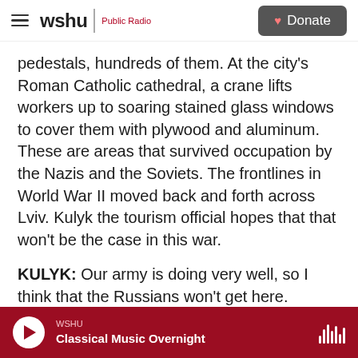wshu | Public Radio  [Donate]
pedestals, hundreds of them. At the city's Roman Catholic cathedral, a crane lifts workers up to soaring stained glass windows to cover them with plywood and aluminum. These are areas that survived occupation by the Nazis and the Soviets. The frontlines in World War II moved back and forth across Lviv. Kulyk the tourism official hopes that that won't be the case in this war.
KULYK: Our army is doing very well, so I think that the Russians won't get here.
FRAYER: You don't entertain the possibility?
WSHU  Classical Music Overnight